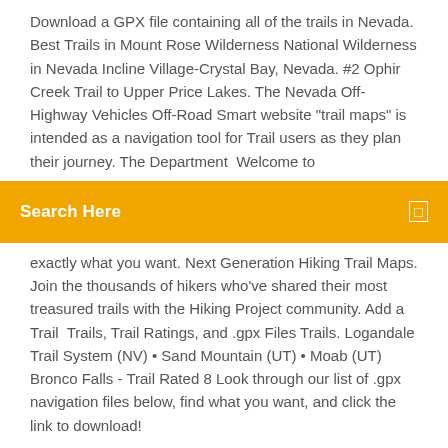Download a GPX file containing all of the trails in Nevada. Best Trails in Mount Rose Wilderness National Wilderness in Nevada Incline Village-Crystal Bay, Nevada. #2 Ophir Creek Trail to Upper Price Lakes. The Nevada Off-Highway Vehicles Off-Road Smart website "trail maps" is intended as a navigation tool for Trail users as they plan their journey. The Department  Welcome to
[Figure (other): Search bar with orange background, white text 'Search Here' and a small icon on the right]
exactly what you want. Next Generation Hiking Trail Maps. Join the thousands of hikers who've shared their most treasured trails with the Hiking Project community. Add a Trail  Trails, Trail Ratings, and .gpx Files Trails. Logandale Trail System (NV) • Sand Mountain (UT) • Moab (UT) Bronco Falls - Trail Rated 8 Look through our list of .gpx navigation files below, find what you want, and click the link to download!
Welcome to the list of Garmin compatible maps for Nevada, USA. Click on a row for more info about a